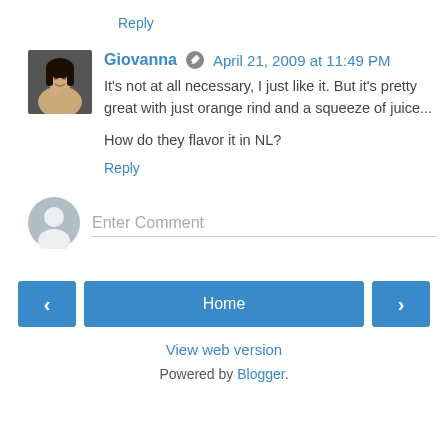Reply
Giovanna  April 21, 2009 at 11:49 PM
It's not at all necessary, I just like it. But it's pretty great with just orange rind and a squeeze of juice...
How do they flavor it in NL?
Reply
Enter Comment
Home
View web version
Powered by Blogger.